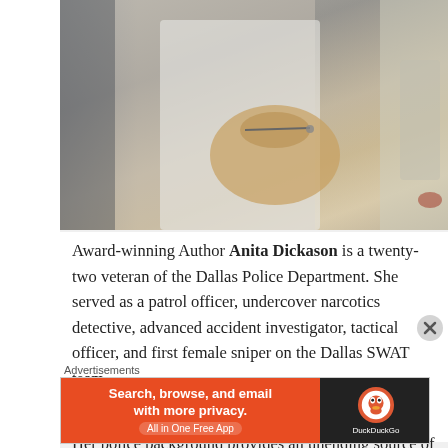[Figure (photo): A person holding a tan/brown handbag, wearing a white striped shirt, photographed outdoors.]
Award-winning Author Anita Dickason is a twenty-two veteran of the Dallas Police Department. She served as a patrol officer, undercover narcotics detective, advanced accident investigator, tactical officer, and first female sniper on the Dallas SWAT team.
Anita writes about what she knows, cops and crime. Her police background provides an unending source of inspiration for her plots and characters. Many incidents and characters portrayed in her books are based on personal experience. For her, the characters are the fun part of writing as she never knows where they will take
Advertisements
[Figure (screenshot): DuckDuckGo advertisement banner: 'Search, browse, and email with more privacy. All in One Free App' with DuckDuckGo logo on dark right panel.]